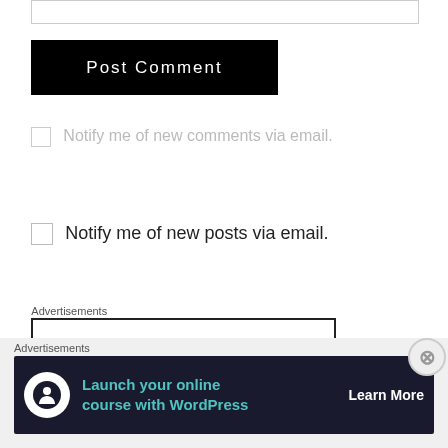[Figure (screenshot): Input text field (empty, with border)]
Post Comment
Notify me of new comments via email.
Notify me of new posts via email.
Advertisements
[Figure (screenshot): Bordered advertisement box (empty)]
Advertisements
[Figure (infographic): Dark advertisement banner: Launch your online course with WordPress — Learn More button with WordPress icon]
[Figure (other): Close/dismiss button (circled X)]